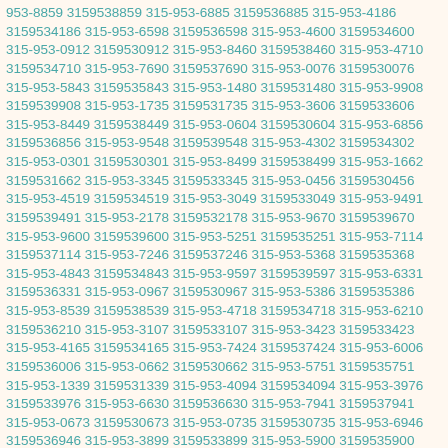953-8859 3159538859 315-953-6885 3159536885 315-953-4186 3159534186 315-953-6598 3159536598 315-953-4600 3159534600 315-953-0912 3159530912 315-953-8460 3159538460 315-953-4710 3159534710 315-953-7690 3159537690 315-953-0076 3159530076 315-953-5843 3159535843 315-953-1480 3159531480 315-953-9908 3159539908 315-953-1735 3159531735 315-953-3606 3159533606 315-953-8449 3159538449 315-953-0604 3159530604 315-953-6856 3159536856 315-953-9548 3159539548 315-953-4302 3159534302 315-953-0301 3159530301 315-953-8499 3159538499 315-953-1662 3159531662 315-953-3345 3159533345 315-953-0456 3159530456 315-953-4519 3159534519 315-953-3049 3159533049 315-953-9491 3159539491 315-953-2178 3159532178 315-953-9670 3159539670 315-953-9600 3159539600 315-953-5251 3159535251 315-953-7114 3159537114 315-953-7246 3159537246 315-953-5368 3159535368 315-953-4843 3159534843 315-953-9597 3159539597 315-953-6331 3159536331 315-953-0967 3159530967 315-953-5386 3159535386 315-953-8539 3159538539 315-953-4718 3159534718 315-953-6210 3159536210 315-953-3107 3159533107 315-953-3423 3159533423 315-953-4165 3159534165 315-953-7424 3159537424 315-953-6006 3159536006 315-953-0662 3159530662 315-953-5751 3159535751 315-953-1339 3159531339 315-953-4094 3159534094 315-953-3976 3159533976 315-953-6630 3159536630 315-953-7941 3159537941 315-953-0673 3159530673 315-953-0735 3159530735 315-953-6946 3159536946 315-953-3899 3159533899 315-953-5900 3159535900 315-953-1762 3159531762 315-953-3444 3159533444 315-953-6427 3159536427 315-953-7671 3159537671 315-953-6653 3159536653 315-953-4826 3159534826 315-953-3388 3159533388 315-953-4878